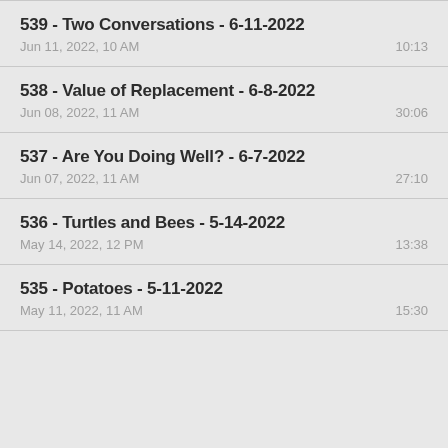539 - Two Conversations - 6-11-2022
Jun 11, 2022, 10 AM	10:13
538 - Value of Replacement - 6-8-2022
Jun 08, 2022, 11 AM	30:06
537 - Are You Doing Well? - 6-7-2022
Jun 07, 2022, 11 AM	27:10
536 - Turtles and Bees - 5-14-2022
May 14, 2022, 12 PM	13:38
535 - Potatoes - 5-11-2022
May 11, 2022, 11 AM	15:30